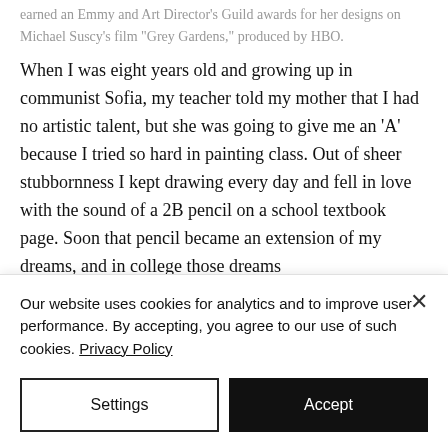earned an Emmy and Art Director's Guild awards for her designs on Michael Suscy's film "Grey Gardens," produced by HBO.
When I was eight years old and growing up in communist Sofia, my teacher told my mother that I had no artistic talent, but she was going to give me an 'A' because I tried so hard in painting class. Out of sheer stubbornness I kept drawing every day and fell in love with the sound of a 2B pencil on a school textbook page. Soon that pencil became an extension of my dreams, and in college those dreams
Our website uses cookies for analytics and to improve user performance. By accepting, you agree to our use of such cookies. Privacy Policy
Settings
Accept